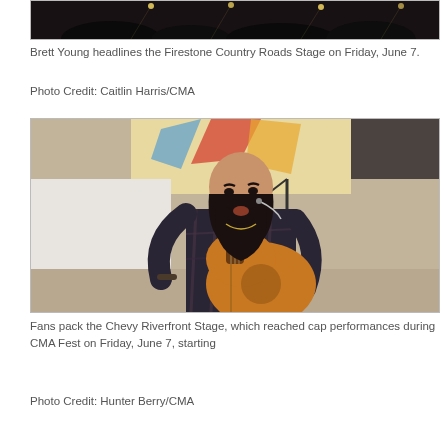[Figure (photo): Concert stage performance photo — top portion cropped, dark crowd and stage lighting visible]
Brett Young headlines the Firestone Country Roads Stage on Friday, June 7.
Photo Credit: Caitlin Harris/CMA
[Figure (photo): Bearded male musician with long beard plays acoustic guitar and sings into microphone on stage, wearing plaid shirt, colorful banner/mural visible in background]
Fans pack the Chevy Riverfront Stage, which reached cap performances during CMA Fest on Friday, June 7, starting
Photo Credit: Hunter Berry/CMA